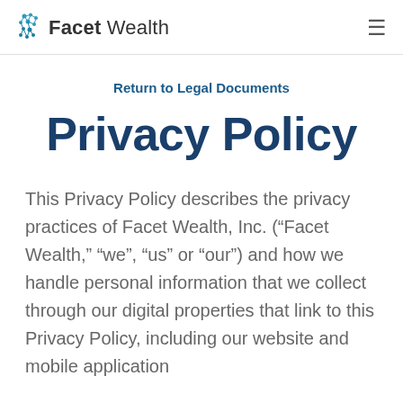Facet Wealth
Return to Legal Documents
Privacy Policy
This Privacy Policy describes the privacy practices of Facet Wealth, Inc. (“Facet Wealth,” “we”, “us” or “our”) and how we handle personal information that we collect through our digital properties that link to this Privacy Policy, including our website and mobile application